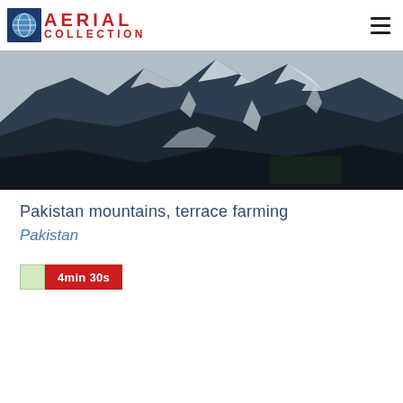AERIAL COLLECTION
[Figure (photo): Aerial view of Pakistan mountains with snow-covered rocky terrain and terrace farming visible]
Pakistan mountains, terrace farming
Pakistan
4min 30s